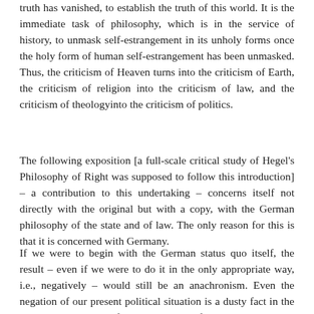truth has vanished, to establish the truth of this world. It is the immediate task of philosophy, which is in the service of history, to unmask self-estrangement in its unholy forms once the holy form of human self-estrangement has been unmasked. Thus, the criticism of Heaven turns into the criticism of Earth, the criticism of religion into the criticism of law, and the criticism of theologyinto the criticism of politics.
The following exposition [a full-scale critical study of Hegel's Philosophy of Right was supposed to follow this introduction] – a contribution to this undertaking – concerns itself not directly with the original but with a copy, with the German philosophy of the state and of law. The only reason for this is that it is concerned with Germany.
If we were to begin with the German status quo itself, the result – even if we were to do it in the only appropriate way, i.e., negatively – would still be an anachronism. Even the negation of our present political situation is a dusty fact in the historical junk room of modern nations. If I negate powdered